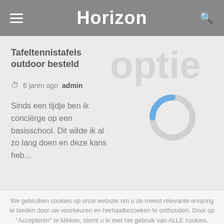Horizon
Tafeltennistafels outdoor besteld
6 jaren ago   admin
Sinds een tijdje ben ik conciërge op een basisschool. Dit wilde ik al zo lang doen en deze kans heb...
[Figure (other): Circular loading spinner, partially blue arc on grey ring]
We gebruiken cookies op onze website om u de meest relevante ervaring te bieden door uw voorkeuren en herhaalbezoeken te onthouden. Door op "Accepteren" te klikken, stemt u in met het gebruik van ALLE cookies.
Cookie instellingen   ACCEPTEREN